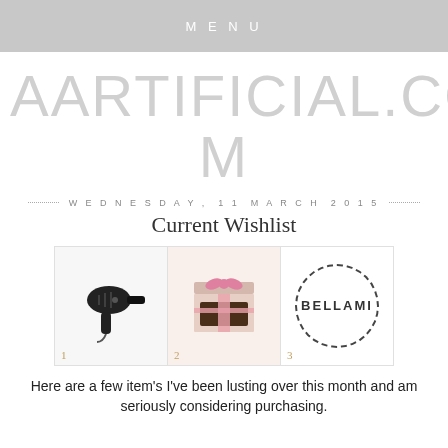MENU
AARTIFICIAL.COM
WEDNESDAY, 11 MARCH 2015
Current Wishlist
[Figure (illustration): Three-panel collage: 1) black hair dryer, 2) pink gift box with ribbon, 3) BELLAMI logo in dashed circle]
Here are a few item's I've been lusting over this month and am seriously considering purchasing.